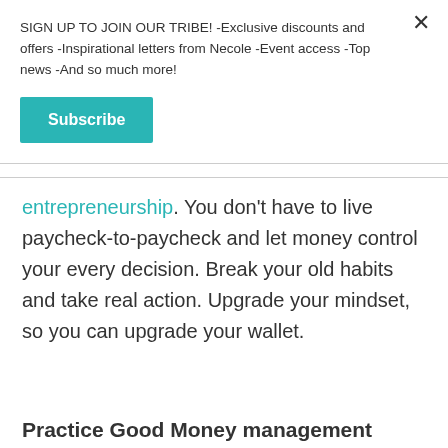SIGN UP TO JOIN OUR TRIBE! -Exclusive discounts and offers -Inspirational letters from Necole -Event access -Top news -And so much more!
Subscribe
entrepreneurship. You don't have to live paycheck-to-paycheck and let money control your every decision. Break your old habits and take real action. Upgrade your mindset, so you can upgrade your wallet.
Practice Good Money management